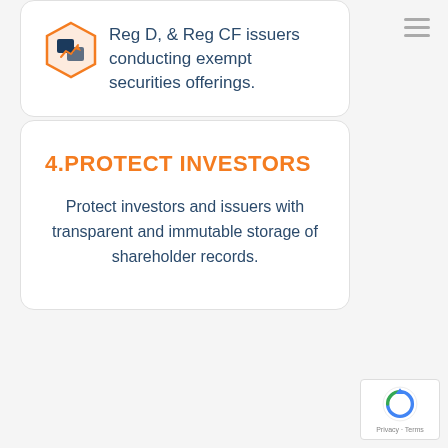[Figure (logo): Hexagonal logo with arrow/chart icon in orange and dark blue]
Reg D, & Reg CF issuers conducting exempt securities offerings.
4.PROTECT INVESTORS
Protect investors and issuers with transparent and immutable storage of shareholder records.
[Figure (other): Google reCAPTCHA badge with Privacy and Terms links]